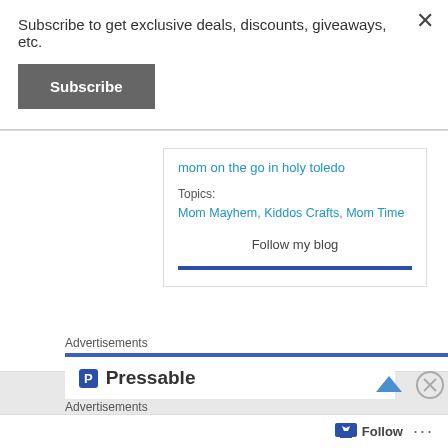Subscribe to get exclusive deals, discounts, giveaways, etc.
Subscribe
mom on the go in holy toledo
Topics:
Mom Mayhem, Kiddos Crafts, Mom Time
Follow my blog
Advertisements
[Figure (screenshot): Pressable advertisement banner with logo]
Advertisements
[Figure (screenshot): Kiss Boring advertisement banner with SHOP NOW button]
Follow